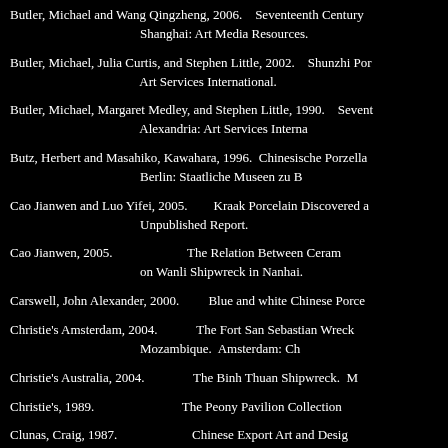Butler, Michael and Wang Qingzheng, 2006.    Seventeenth Century Shanghai: Art Media Resources.
Butler, Michael, Julia Curtis, and Stephen Little, 2002.    Shunzhi Por... Art Services International.
Butler, Michael, Margaret Medley, and Stephen Little, 1990.    Sevent... Alexandria: Art Services Interna...
Butz, Herbert and Masahiko, Kawahara, 1996.  Chinesische Porzella... Berlin: Staatliche Museen zu B...
Cao Jianwen and Luo Yifei, 2005.        Kraak Porcelain Discovered a... Unpublished Report.
Cao Jianwen, 2005.                          The Relation Between Ceram... on Wanli Shipwreck in Nanhai.
Carswell, John Alexander, 2000.         Blue and white Chinese Porce...
Christie's Amsterdam, 2004.              The Fort San Sebastian Wreck... Mozambique.  Amsterdam: Ch...
Christie's Australia, 2004.                The Binh Thuan Shipwreck.  M...
Christie's, 1989.                              The Peony Pavilion Collection...
Clunas, Craig, 1987.                         Chinese Export Art and Desig...